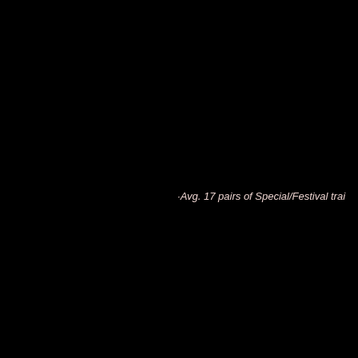·Avg. 17 pairs of Special/Festival trai